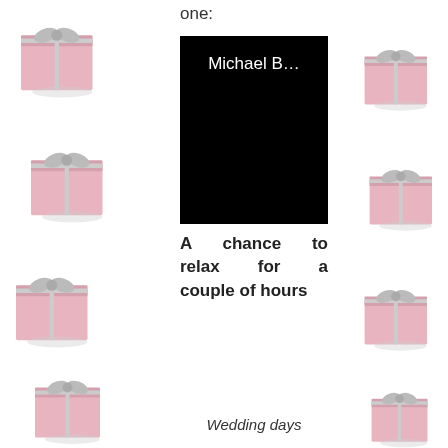one:
[Figure (screenshot): Black rectangle with white text reading 'Michael B...' at the top]
A chance to relax for a couple of hours
Wedding days